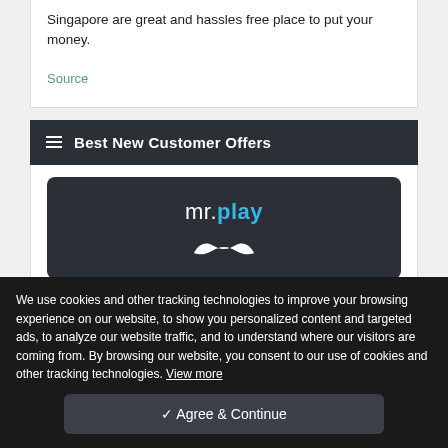Singapore are great and hassles free place to put your money.
Source
Best New Customer Offers
[Figure (logo): mr.play casino logo with white text and mustache icon on dark background]
Bonus Up To £200 + 100 Free Spins
We use cookies and other tracking technologies to improve your browsing experience on our website, to show you personalized content and targeted ads, to analyze our website traffic, and to understand where our visitors are coming from. By browsing our website, you consent to our use of cookies and other tracking technologies. View more
✓ Agree & Continue